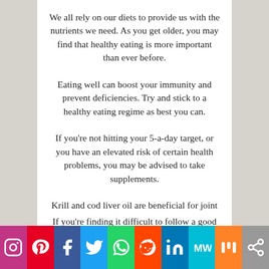We all rely on our diets to provide us with the nutrients we need. As you get older, you may find that healthy eating is more important than ever before.
Eating well can boost your immunity and prevent deficiencies. Try and stick to a healthy eating regime as best you can.
If you’re not hitting your 5-a-day target, or you have an elevated risk of certain health problems, you may be advised to take supplements.
Krill and cod liver oil are beneficial for joint health, Vitamin C can help you to fight off minor ailments. If you’re not sure about which supplements to take, ask your doctor for advice.
If you’re finding it difficult to follow a good eating re…
[Figure (infographic): Social media share bar with icons for Instagram, Pinterest, Facebook, Twitter, WhatsApp, Reddit, LinkedIn, MeWe, Mix, and Share]